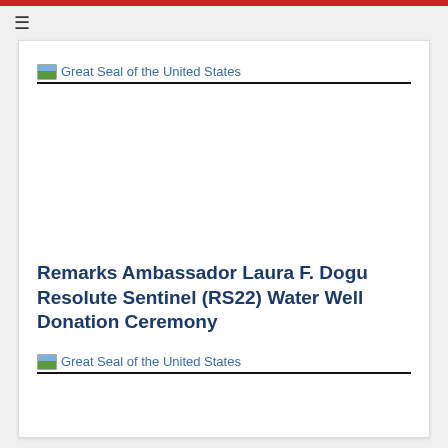☰
[Figure (logo): Great Seal of the United States placeholder image with alt text]
Remarks Ambassador Laura F. Dogu Resolute Sentinel (RS22) Water Well Donation Ceremony
[Figure (logo): Great Seal of the United States placeholder image with alt text]